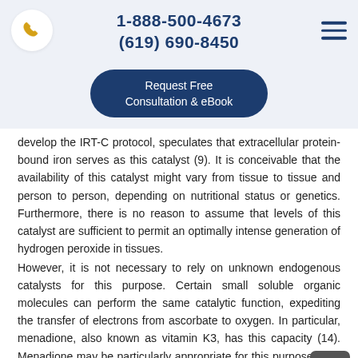1-888-500-4673
(619) 690-8450
Request Free Consultation & eBook
develop the IRT-C protocol, speculates that extracellular protein-bound iron serves as this catalyst (9). It is conceivable that the availability of this catalyst might vary from tissue to tissue and person to person, depending on nutritional status or genetics. Furthermore, there is no reason to assume that levels of this catalyst are sufficient to permit an optimally intense generation of hydrogen peroxide in tissues.
However, it is not necessary to rely on unknown endogenous catalysts for this purpose. Certain small soluble organic molecules can perform the same catalytic function, expediting the transfer of electrons from ascorbate to oxygen. In particular, menadione, also known as vitamin K3, has this capacity (14). Menadione may be particularly appropriate for this purpose, as it has long been in clinical